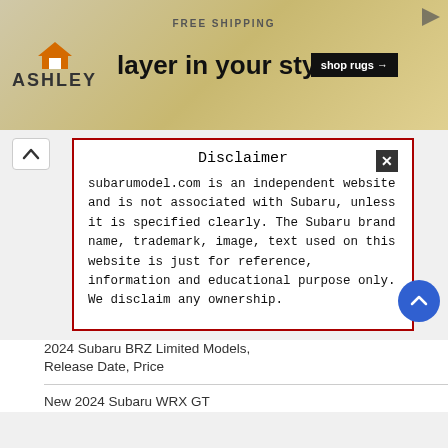[Figure (screenshot): Ashley Furniture advertisement banner: orange house logo, ASHLEY text, 'layer in your style' headline, 'FREE SHIPPING' text, 'shop rugs →' button, decorative background]
Disclaimer
subarumodel.com is an independent website and is not associated with Subaru, unless it is specified clearly. The Subaru brand name, trademark, image, text used on this website is just for reference, information and educational purpose only. We disclaim any ownership.
2024 Subaru BRZ Limited Models, Release Date, Price
New 2024 Subaru WRX GT